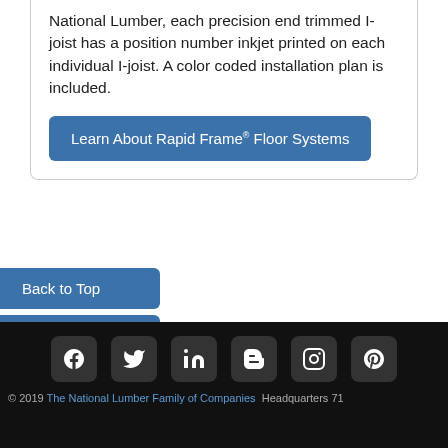National Lumber, each precision end trimmed I-joist has a position number inkjet printed on each individual I-joist. A color coded installation plan is included.
Learn About Rapid Frame® Floor Systems
Back to Top
Engineering
© 2019 The National Lumber Family of Companies  Headquarters 71